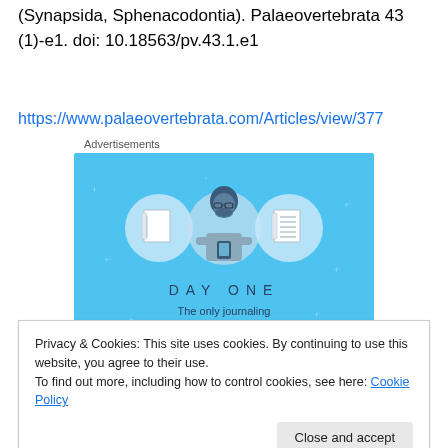(Synapsida, Sphenacodontia). Palaeovertebrata 43 (1)-e1. doi: 10.18563/pv.43.1.e1
https://www.palaeovertebrata.com/Articles/view/377
Advertisements
[Figure (illustration): Day One journaling app advertisement: blue background with illustrated person holding phone, flanked by notebook and lined-paper icons. Text reads DAY ONE and The only journaling app you'll ever need.]
Privacy & Cookies: This site uses cookies. By continuing to use this website, you agree to their use.
To find out more, including how to control cookies, see here: Cookie Policy